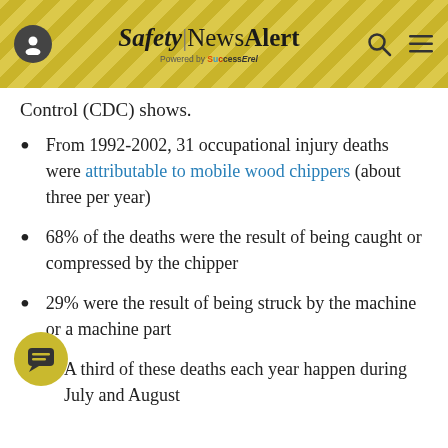Safety|NewsAlert Powered by SuccessEel
Control (CDC) shows.
From 1992-2002, 31 occupational injury deaths were attributable to mobile wood chippers (about three per year)
68% of the deaths were the result of being caught or compressed by the chipper
29% were the result of being struck by the machine or a machine part
A third of these deaths each year happen during July and August